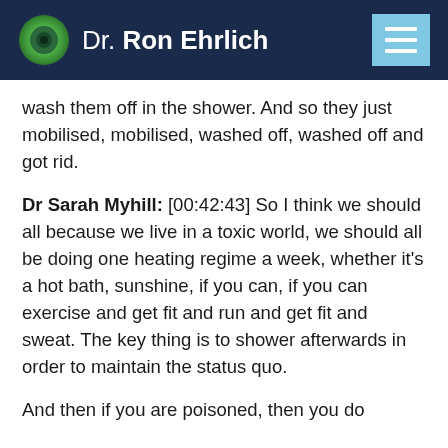Dr. Ron Ehrlich
wash them off in the shower. And so they just mobilised, mobilised, washed off, washed off and got rid.
Dr Sarah Myhill: [00:42:43] So I think we should all because we live in a toxic world, we should all be doing one heating regime a week, whether it's a hot bath, sunshine, if you can, if you can exercise and get fit and run and get fit and sweat. The key thing is to shower afterwards in order to maintain the status quo.
And then if you are poisoned, then you do